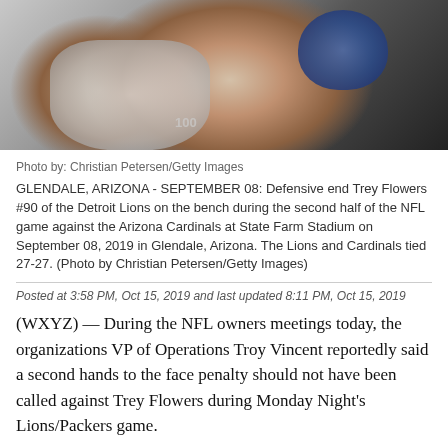[Figure (photo): Detroit Lions player Trey Flowers #90 on bench, wearing white jersey, with blue helmet visible, during NFL game against Arizona Cardinals]
Photo by: Christian Petersen/Getty Images
GLENDALE, ARIZONA - SEPTEMBER 08: Defensive end Trey Flowers #90 of the Detroit Lions on the bench during the second half of the NFL game against the Arizona Cardinals at State Farm Stadium on September 08, 2019 in Glendale, Arizona. The Lions and Cardinals tied 27-27. (Photo by Christian Petersen/Getty Images)
Posted at 3:58 PM, Oct 15, 2019 and last updated 8:11 PM, Oct 15, 2019
(WXYZ) — During the NFL owners meetings today, the organizations VP of Operations Troy Vincent reportedly said a second hands to the face penalty should not have been called against Trey Flowers during Monday Night's Lions/Packers game.